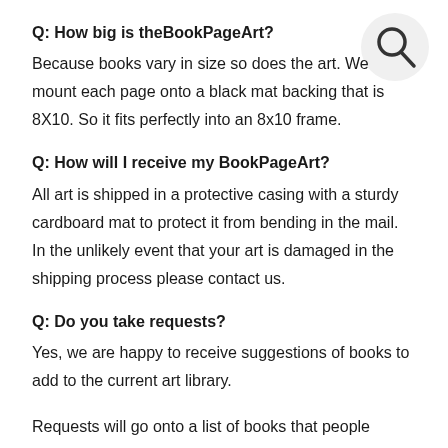[Figure (illustration): Search icon — circle with magnifying glass handle, top-right corner]
Q: How big is theBookPageArt?
Because books vary in size so does the art. We mount each page onto a black mat backing that is 8X10. So it fits perfectly into an 8x10 frame.
Q: How will I receive my BookPageArt?
All art is shipped in a protective casing with a sturdy cardboard mat to protect it from bending in the mail. In the unlikely event that your art is damaged in the shipping process please contact us.
Q: Do you take requests?
Yes, we are happy to receive suggestions of books to add to the current art library.
Requests will go onto a list of books that people would like to